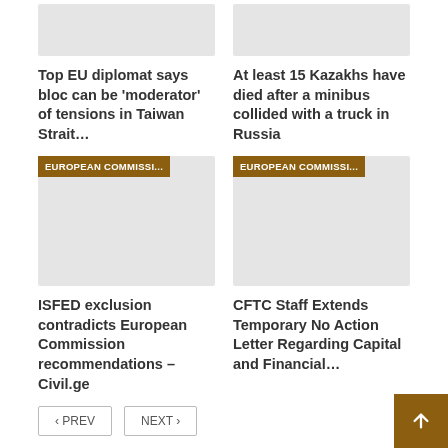[Figure (photo): Gray placeholder image top left]
[Figure (photo): Gray placeholder image top right]
Top EU diplomat says bloc can be 'moderator' of tensions in Taiwan Strait…
At least 15 Kazakhs have died after a minibus collided with a truck in Russia
[Figure (photo): Gray placeholder image with European Commission badge, bottom left]
[Figure (photo): Gray placeholder image with European Commission badge, bottom right]
ISFED exclusion contradicts European Commission recommendations – Civil.ge
CFTC Staff Extends Temporary No Action Letter Regarding Capital and Financial…
‹ PREV   NEXT ›